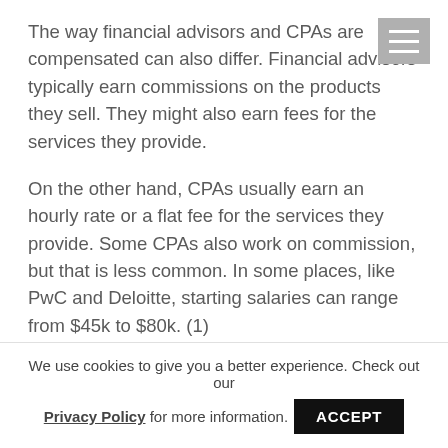The way financial advisors and CPAs are compensated can also differ. Financial advisors typically earn commissions on the products they sell. They might also earn fees for the services they provide.
On the other hand, CPAs usually earn an hourly rate or a flat fee for the services they provide. Some CPAs also work on commission, but that is less common. In some places, like PwC and Deloitte, starting salaries can range from $45k to $80k. (1)
Some financial advisors may charge an hourly rate, a flat...
We use cookies to give you a better experience. Check out our Privacy Policy for more information. ACCEPT